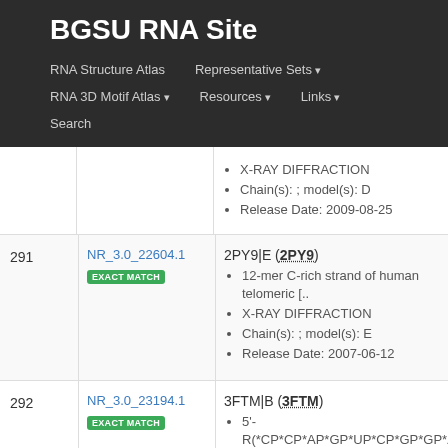BGSU RNA Site
RNA Structure Atlas | Representative Sets ▾ | RNA 3D Motif Atlas ▾ | Resources ▾ | Links ▾ | Search
| # | ID | Info |
| --- | --- | --- |
|  |  | X-RAY DIFFRACTION
Chain(s): ; model(s): D
Release Date: 2009-08-25 |
| 291 | NR_3.0_22604.1 EXACT MATCH | 2PY9|E (2PY9)
12-mer C-rich strand of human telomeric [...]
X-RAY DIFFRACTION
Chain(s): ; model(s): E
Release Date: 2007-06-12 |
| 292 | NR_3.0_23194.1 EXACT MATCH | 3FTM|B (3FTM)
5'-R(*CP*CP*AP*GP*UP*CP*GP*GP*AP*AP...
X-RAY DIFFRACTION
Chain(s): ; model(s): B |